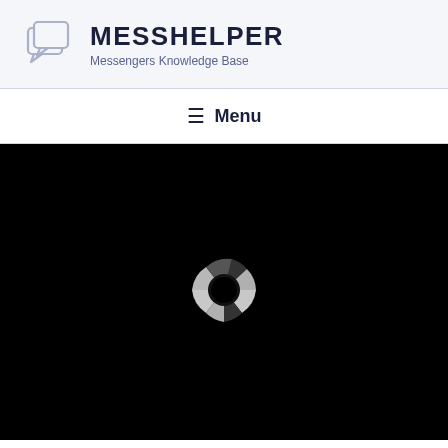MESSHELPER — Messengers Knowledge Base
MESSHELPER
Messengers Knowledge Base
☰ Menu
[Figure (illustration): Loading spinner / donut-style segmented circular icon in gray and dark tones on a black background]